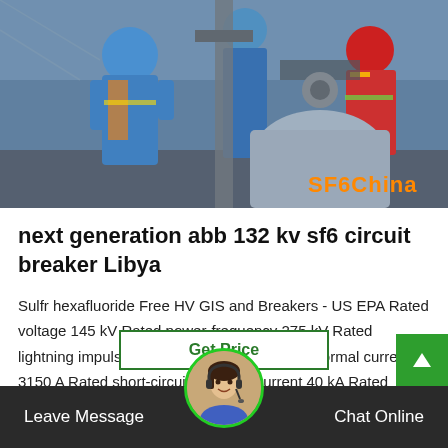[Figure (photo): Workers in blue hard hats and uniforms working on industrial electrical equipment, possibly SF6 circuit breaker installation. Orange 'SF6China' watermark in bottom right of photo.]
next generation abb 132 kv sf6 circuit breaker Libya
Sulfr hexafluoride Free HV GIS and Breakers - US EPA Rated voltage 145 kV Rated power-frequency 275 kV Rated lightning impulse (1.2 / 50 μs) 650 kV Rated normal current 3150 A Rated short-circuit breaking current 40 kA Rated short-time current (up …
Leave Message    Chat Online